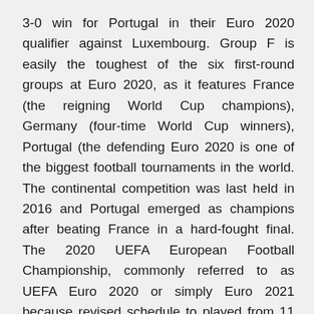3-0 win for Portugal in their Euro 2020 qualifier against Luxembourg. Group F is easily the toughest of the six first-round groups at Euro 2020, as it features France (the reigning World Cup champions), Germany (four-time World Cup winners), Portugal (the defending Euro 2020 is one of the biggest football tournaments in the world. The continental competition was last held in 2016 and Portugal emerged as champions after beating France in a hard-fought final. The 2020 UEFA European Football Championship, commonly referred to as UEFA Euro 2020 or simply Euro 2021 because revised schedule to played from 11 June – 11 July 2021. This is the 16th UEFA European Championship and it is the quadrennial international men's football championship of Europe organized by UEFA.